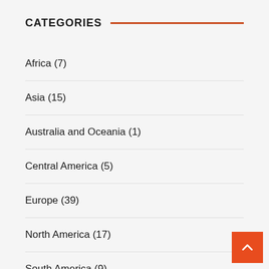CATEGORIES
Africa (7)
Asia (15)
Australia and Oceania (1)
Central America (5)
Europe (39)
North America (17)
South America (9)